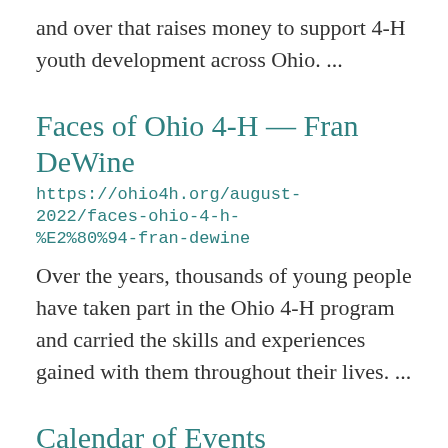and over that raises money to support 4-H youth development across Ohio. ...
Faces of Ohio 4-H — Fran DeWine
https://ohio4h.org/august-2022/faces-ohio-4-h-%E2%80%94-fran-dewine
Over the years, thousands of young people have taken part in the Ohio 4-H program and carried the skills and experiences gained with them throughout their lives. ...
Calendar of Events
https://ohio4h.org/august-2022/calendar-events
Check out these events we though you'd enjoy! ...